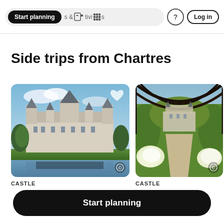Start planning  &  Activities  ?  Log in
Side trips from Chartres
[Figure (photo): Château de Chambord castle with moat and blue sky]
CASTLE
[Figure (photo): Garden path leading to a chateau viewed through arched trellis with flowers]
CASTLE
Start planning